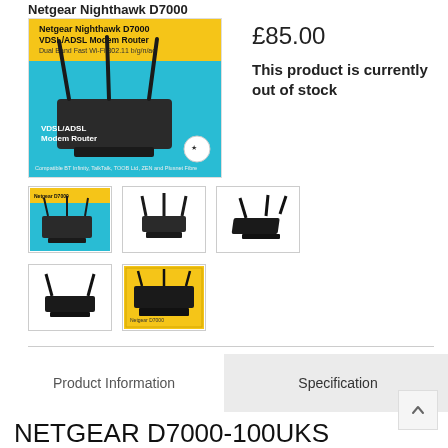Netgear Nighthawk D7000
[Figure (photo): Netgear Nighthawk D7000 VDSL/ADSL Modem Router product box and router image on cyan/blue background]
£85.00
This product is currently out of stock
[Figure (photo): Thumbnail 1: product box]
[Figure (photo): Thumbnail 2: router front view]
[Figure (photo): Thumbnail 3: router side/angle view]
[Figure (photo): Thumbnail 4: router front view dark]
[Figure (photo): Thumbnail 5: router on yellow/product box background]
Product Information
Specification
NETGEAR D7000-100UKS Nighthawk AC1900 Dual Band Wireless VDSL/ADSL Modem